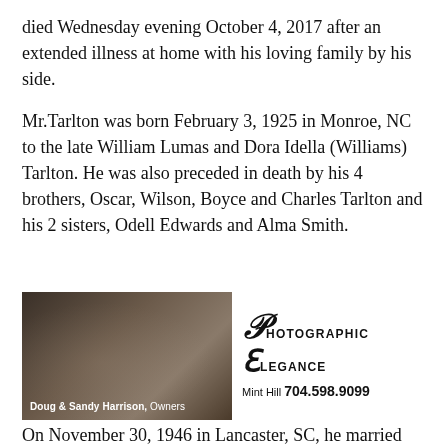died Wednesday evening October 4, 2017 after an extended illness at home with his loving family by his side.
Mr.Tarlton was born February 3, 1925 in Monroe, NC to the late William Lumas and Dora Idella (Williams) Tarlton. He was also preceded in death by his 4 brothers, Oscar, Wilson, Boyce and Charles Tarlton and his 2 sisters, Odell Edwards and Alma Smith.
[Figure (photo): Advertisement for Photographic Elegance studio in Mint Hill. Left side shows a photo of Doug & Sandy Harrison, Owners. Right side shows the business name 'Photographic Elegance' in decorative script/serif font and the phone number 704.598.9099.]
On November 30, 1946 in Lancaster, SC, he married his